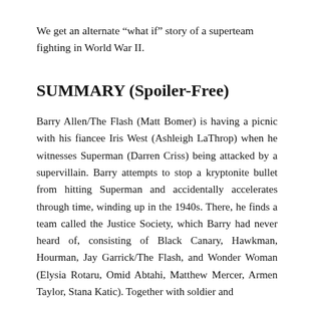We get an alternate “what if” story of a superteam fighting in World War II.
SUMMARY (Spoiler-Free)
Barry Allen/The Flash (Matt Bomer) is having a picnic with his fiancee Iris West (Ashleigh LaThrop) when he witnesses Superman (Darren Criss) being attacked by a supervillain. Barry attempts to stop a kryptonite bullet from hitting Superman and accidentally accelerates through time, winding up in the 1940s. There, he finds a team called the Justice Society, which Barry had never heard of, consisting of Black Canary, Hawkman, Hourman, Jay Garrick/The Flash, and Wonder Woman (Elysia Rotaru, Omid Abtahi, Matthew Mercer, Armen Taylor, Stana Katic). Together with soldier and